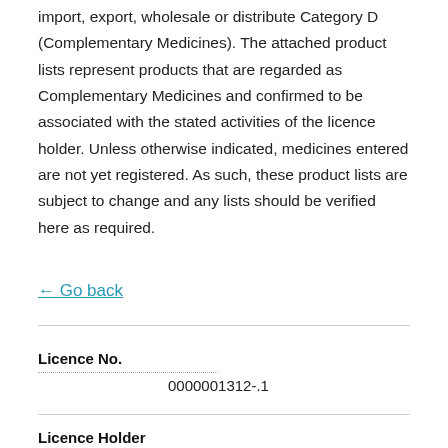import, export, wholesale or distribute Category D (Complementary Medicines). The attached product lists represent products that are regarded as Complementary Medicines and confirmed to be associated with the stated activities of the licence holder. Unless otherwise indicated, medicines entered are not yet registered. As such, these product lists are subject to change and any lists should be verified here as required.
← Go back
| Licence No. |
| --- |
| 0000001312-.1 |
Licence Holder